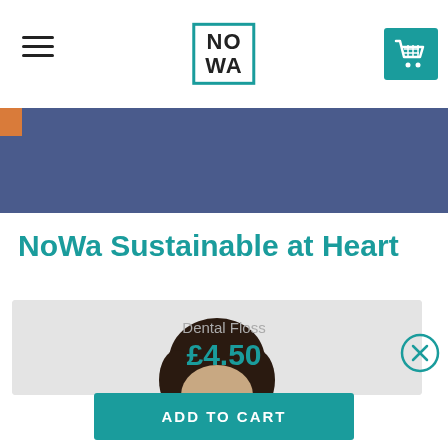[Figure (logo): NoWa brand logo in teal bordered box with hamburger menu and shopping cart icon]
[Figure (photo): Blue/slate colored hero banner with orange accent and partial photo of person]
NoWa Sustainable at Heart
[Figure (photo): Gray background product photo showing top of person's head with dark hair]
Dental Floss
£4.50
ADD TO CART